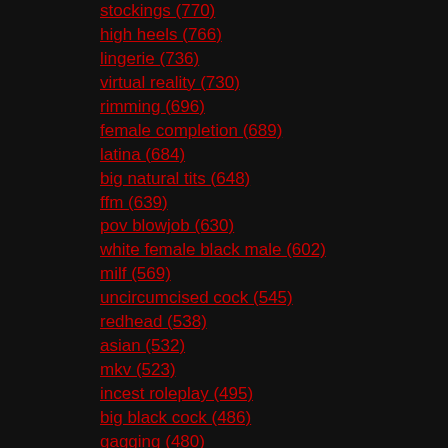stockings (770)
high heels (766)
lingerie (736)
virtual reality (730)
rimming (696)
female completion (689)
latina (684)
big natural tits (648)
ffm (639)
pov blowjob (630)
white female black male (602)
milf (569)
uncircumcised cock (545)
redhead (538)
asian (532)
mkv (523)
incest roleplay (495)
big black cock (486)
gagging (480)
double penetration (479)
h 265 (439)
prone bone (437)
european (419)
outdoor (396)